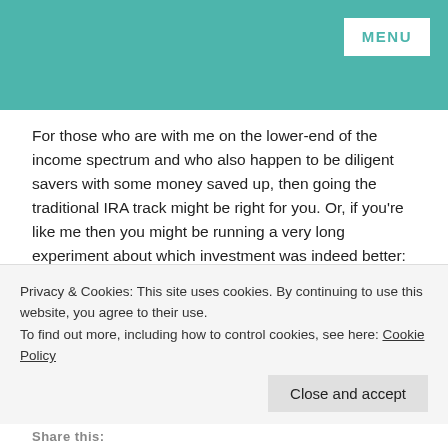MENU
For those who are with me on the lower-end of the income spectrum and who also happen to be diligent savers with some money saved up, then going the traditional IRA track might be right for you. Or, if you're like me then you might be running a very long experiment about which investment was indeed better: Roth or Traditional? We can discuss the results in 35 years!
Did you open a traditional IRA for tax purposes? What legal loopholes have you found?
[Uncle Sam image taken from DonkeyHotey on Flickr. Gif taken from GIPHY]
*As a point of clarification, I was referring to contributing to a company retirement plan and a separate IRA. I personally have a
Privacy & Cookies: This site uses cookies. By continuing to use this website, you agree to their use.
To find out more, including how to control cookies, see here: Cookie Policy
Close and accept
Share this: